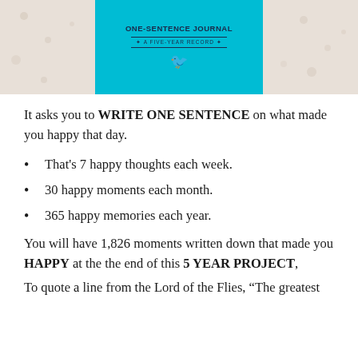[Figure (photo): Photo of a teal/cyan colored One-Sentence Journal book with subtitle 'A Five-Year Record', a bird illustration on the cover, and a yellow-green spine. Background is beige/tan.]
It asks you to WRITE ONE SENTENCE on what made you happy that day.
That's 7 happy thoughts each week.
30 happy moments each month.
365 happy memories each year.
You will have 1,826 moments written down that made you HAPPY at the the end of this 5 YEAR PROJECT,
To quote a line from the Lord of the Flies, “The greatest